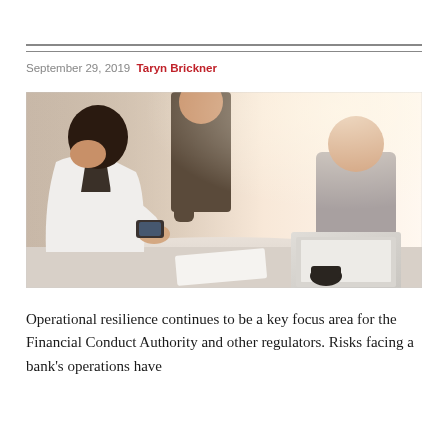September 29, 2019  Taryn Brickner
[Figure (photo): Business people meeting around a table; one person in white blazer is using a tablet/phone, another person is working on a laptop in the background. Warm office lighting with bright background.]
Operational resilience continues to be a key focus area for the Financial Conduct Authority and other regulators. Risks facing a bank's operations have